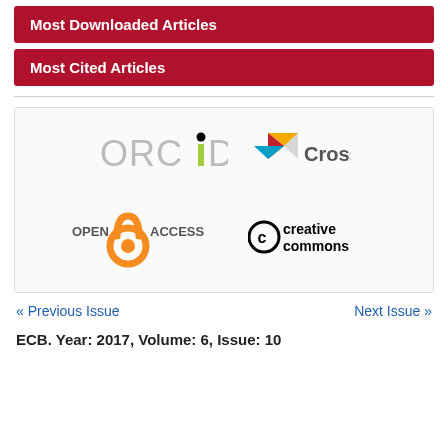Most Downloaded Articles
Most Cited Articles
[Figure (logo): Logos for ORCID, Crossref, Open Access, and Creative Commons]
« Previous Issue
Next Issue »
ECB. Year: 2017, Volume: 6, Issue: 10